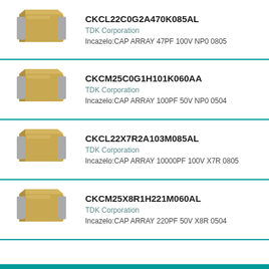[Figure (illustration): Ceramic capacitor array component illustration - tan/gold colored rectangular SMD package with silver terminals on sides]
CKCL22C0G2A470K085AL
TDK Corporation
Incazelo:CAP ARRAY 47PF 100V NP0 0805
[Figure (illustration): Ceramic capacitor array component illustration - tan/gold colored rectangular SMD package with silver terminals on sides]
CKCM25C0G1H101K060AA
TDK Corporation
Incazelo:CAP ARRAY 100PF 50V NP0 0504
[Figure (illustration): Ceramic capacitor array component illustration - tan/gold colored rectangular SMD package with silver terminals on sides]
CKCL22X7R2A103M085AL
TDK Corporation
Incazelo:CAP ARRAY 10000PF 100V X7R 0805
[Figure (illustration): Ceramic capacitor array component illustration - tan/gold colored rectangular SMD package with silver terminals on sides]
CKCM25X8R1H221M060AL
TDK Corporation
Incazelo:CAP ARRAY 220PF 50V X8R 0504